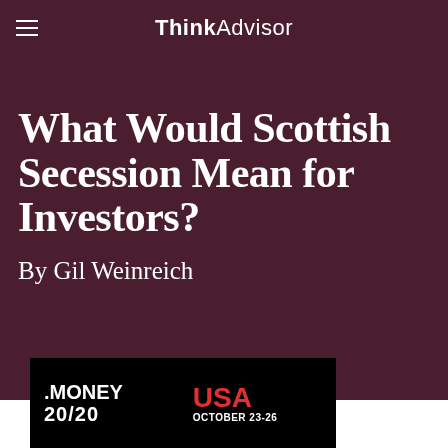ThinkAdvisor
Newsletters
What Would Scottish Secession Mean for Investors?
By Gil Weinreich
[Figure (other): Advertisement banner for MONEY 20/20 USA, October 23-26, black background with red USA text]